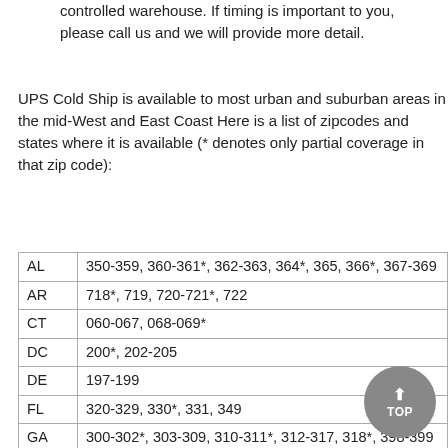During this delay, the wine is kept in temperature controlled warehouse.  If timing is important to you, please call us and we will provide more detail.
UPS Cold Ship is available to most urban and suburban areas in the mid-West and East Coast  Here is a list of zipcodes and states where it is available (* denotes only partial coverage in that zip code):
| State | Zip Codes |
| --- | --- |
| AL | 350-359, 360-361*, 362-363, 364*, 365, 366*, 367-369 |
| AR | 718*, 719, 720-721*, 722 |
| CT | 060-067, 068-069* |
| DC | 200*, 202-205 |
| DE | 197-199 |
| FL | 320-329, 330*, 331, 349 |
| GA | 300-302*, 303-309, 310-311*, 312-317, 318*, 398-399 |
| IA | 500-516, 520-528 |
| IL | 600-629 |